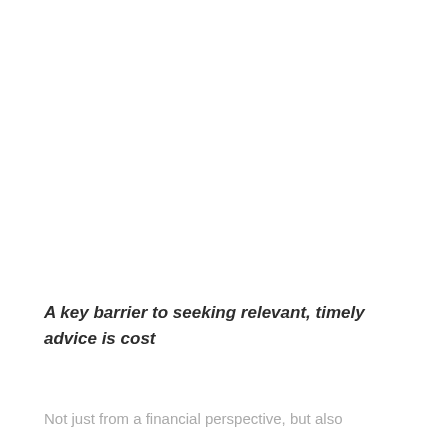A key barrier to seeking relevant, timely advice is cost
Not just from a financial perspective, but also